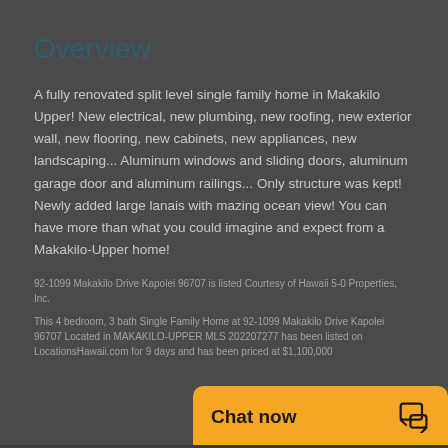Overview
A fully renovated split level single family home in Makakilo Upper! New electrical, new plumbing, new roofing, new exterior wall, new flooring, new cabinets, new appliances, new landscaping... Aluminum windows and sliding doors, aluminum garage door and aluminum railings... Only structure was kept! Newly added large lanais with mazing ocean view! You can have more than what you could imagine and expect from a Makakilo-Upper home!
92-1099 Makakilo Drive Kapolei 96707 is listed Courtesy of Hawaii 5-0 Properties, Inc.
This 4 bedroom, 3 bath Single Family Home at 92-1099 Makakilo Drive Kapolei 96707 Located in MAKAKILO-UPPER MLS 202207277 has been listed on LocationsHawaii.com for 9 days and has been priced at $1,100,000